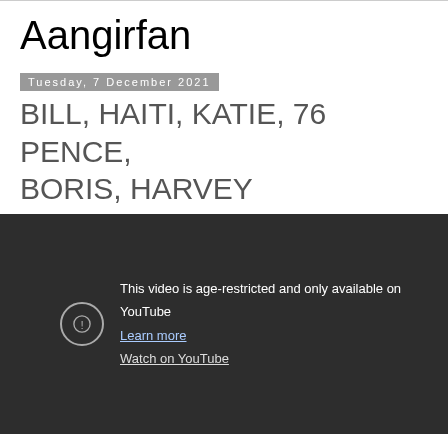Aangirfan
Tuesday, 7 December 2021
BILL, HAITI, KATIE, 76 PENCE, BORIS, HARVEY
[Figure (screenshot): Embedded YouTube video showing age-restricted message: 'This video is age-restricted and only available on YouTube. Learn more. Watch on YouTube.']